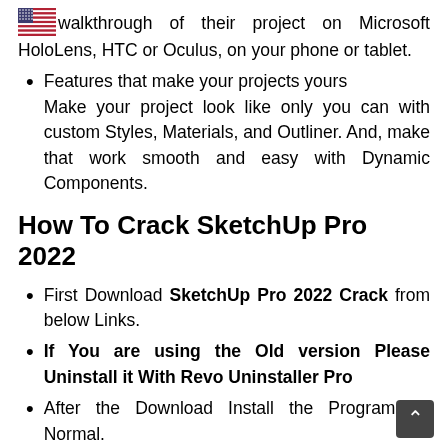walkthrough of their project on Microsoft HoloLens, HTC or Oculus, on your phone or tablet.
Features that make your projects yours
Make your project look like only you can with custom Styles, Materials, and Outliner. And, make that work smooth and easy with Dynamic Components.
How To Crack SketchUp Pro 2022
First Download SketchUp Pro 2022 Crack from below Links.
If You are using the Old version Please Uninstall it With Revo Uninstaller Pro
After the Download Install the Program As Normal.
After Install Do,t Run the Software Run.